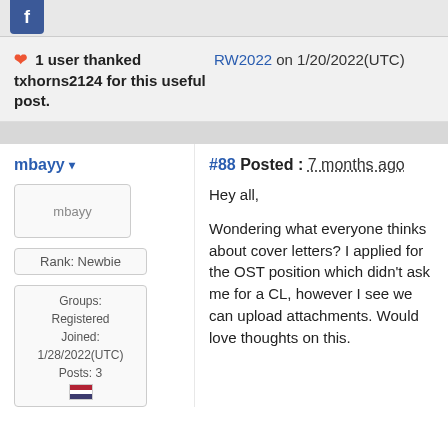[Figure (other): Facebook share icon button at top of page]
❤ 1 user thanked txhorns2124 for this useful post.
RW2022 on 1/20/2022(UTC)
#88 Posted : 7 months ago
mbayy
[Figure (photo): mbayy user avatar placeholder image]
Rank: Newbie
Groups: Registered
Joined: 1/28/2022(UTC)
Posts: 3
Hey all,

Wondering what everyone thinks about cover letters? I applied for the OST position which didn't ask me for a CL, however I see we can upload attachments. Would love thoughts on this.